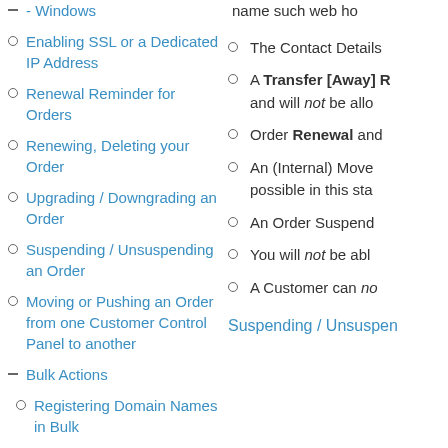- Windows
Enabling SSL or a Dedicated IP Address
Renewal Reminder for Orders
Renewing, Deleting your Order
Upgrading / Downgrading an Order
Suspending / Unsuspending an Order
Moving or Pushing an Order from one Customer Control Panel to another
– Bulk Actions
Registering Domain Names in Bulk
Transferring Domain Names in Bulk
Renewing Orders in Bulk
Suspending or Unsuspending Orders in
name such web ho
The Contact Details
A Transfer [Away] R and will not be allo
Order Renewal and
An (Internal) Move possible in this sta
An Order Suspend
You will not be abl
A Customer can no
Suspending / Unsuspen